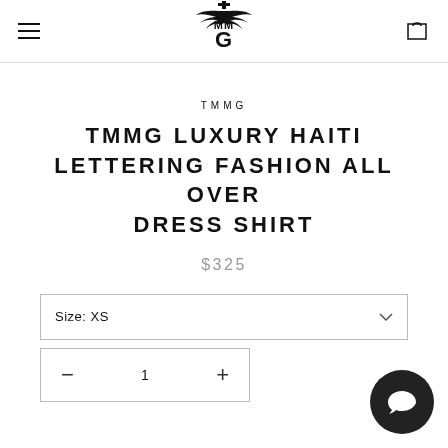[Figure (logo): TMMG brand logo with winged emblem and cross]
TMMG
TMMG LUXURY HAITI LETTERING FASHION ALL OVER DRESS SHIRT
$325
Size: XS
1